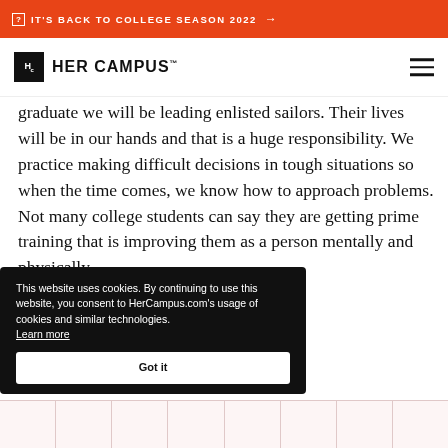IT'S BACK TO COLLEGE SEASON 2022 →
[Figure (logo): Her Campus logo with Hc icon and wordmark]
graduate we will be leading enlisted sailors. Their lives will be in our hands and that is a huge responsibility. We practice making difficult decisions in tough situations so when the time comes, we know how to approach problems. Not many college students can say they are getting prime training that is improving them as a person mentally and physically.
don't know about the ROTC
This website uses cookies. By continuing to use this website, you consent to HerCampus.com's usage of cookies and similar technologies. Learn more